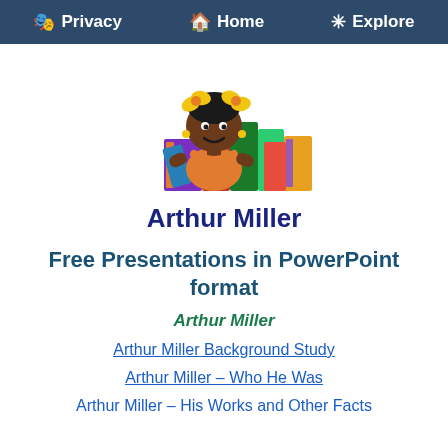Privacy  Home  Explore
[Figure (illustration): Cartoon illustration of a smiling child with yellow bow in hair, holding a book, surrounded by colorful stacked books in purple, red, green, blue, yellow, and orange]
Arthur Miller
Free Presentations in PowerPoint format
Arthur Miller
Arthur Miller Background Study
Arthur Miller – Who He Was
Arthur Miller – His Works and Other Facts